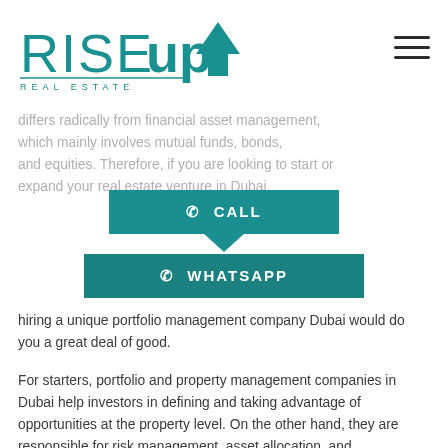[Figure (logo): RiseUp Real Estate logo with teal arrow pointing upward]
be an art on its own. Together, 2014 suggests that a real estate portfolio management differs from other financial asset portfolio management in that real estate portfolio management differs radically from financial asset management, which mainly involves mutual funds, bonds, and equities. Therefore, if you are looking to start or expand your real estate venture in Dubai, hiring a unique portfolio management company Dubai would do you a great deal of good.
[Figure (infographic): CALL and WHATSAPP teal buttons with phone icons]
For starters, portfolio and property management companies in Dubai help investors in defining and taking advantage of opportunities at the property level. On the other hand, they are responsible for risk management, asset allocation, and transactions. Finally, depending on the company you choose and the services they offer, the professionals may also deal